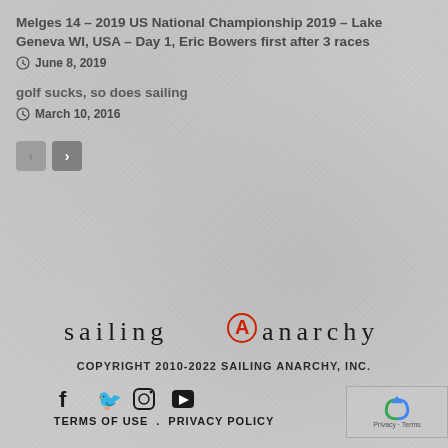Melges 14 – 2019 US National Championship 2019 – Lake Geneva WI, USA – Day 1, Eric Bowers first after 3 races
June 8, 2019
golf sucks, so does sailing
March 10, 2016
[Figure (logo): Sailing Anarchy logo with anarchy symbol in red between 'sailing' and 'anarchy' text]
COPYRIGHT 2010-2022 SAILING ANARCHY, INC.
TERMS OF USE . PRIVACY POLICY